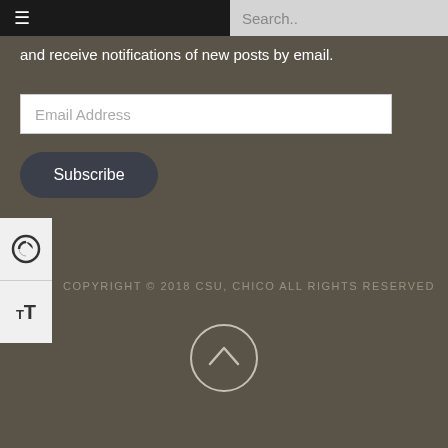≡   Search..
and receive notifications of new posts by email.
Email Address
Subscribe
[Figure (other): Accessibility toggle panel with contrast icon and text size icon]
COPYRIGHT © 2018 CSU, CHICO ALL RIGHTS RESERVED
[Figure (other): Back to top circular button with upward chevron arrow]